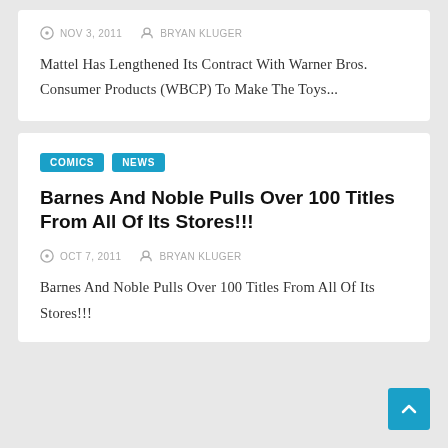NOV 3, 2011  BRYAN KLUGER
Mattel Has Lengthened Its Contract With Warner Bros. Consumer Products (WBCP) To Make The Toys...
COMICS  NEWS
Barnes And Noble Pulls Over 100 Titles From All Of Its Stores!!!
OCT 7, 2011  BRYAN KLUGER
Barnes And Noble Pulls Over 100 Titles From All Of Its Stores!!!